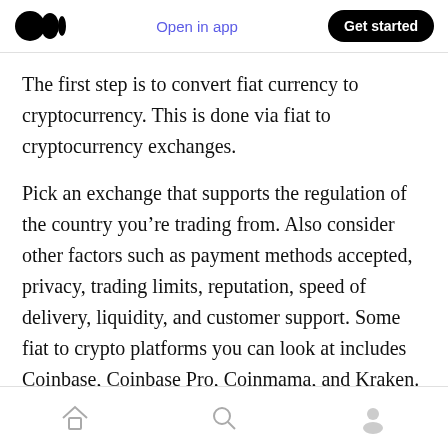Medium logo | Open in app | Get started
The first step is to convert fiat currency to cryptocurrency. This is done via fiat to cryptocurrency exchanges.
Pick an exchange that supports the regulation of the country you’re trading from. Also consider other factors such as payment methods accepted, privacy, trading limits, reputation, speed of delivery, liquidity, and customer support. Some fiat to crypto platforms you can look at includes Coinbase, Coinbase Pro, Coinmama, and Kraken.
Home | Search | Profile